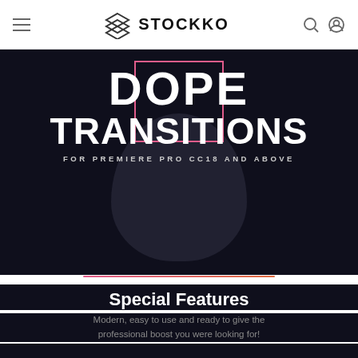STOCKKO
[Figure (illustration): Dope Transitions product banner with pink rectangle frame, large bold white text reading DOPE TRANSITIONS FOR PREMIERE PRO CC18 AND ABOVE, on dark navy background with decorative teardrop shape and gradient divider line]
Special Features
Modern, easy to use and ready to give the professional boost you were looking for!